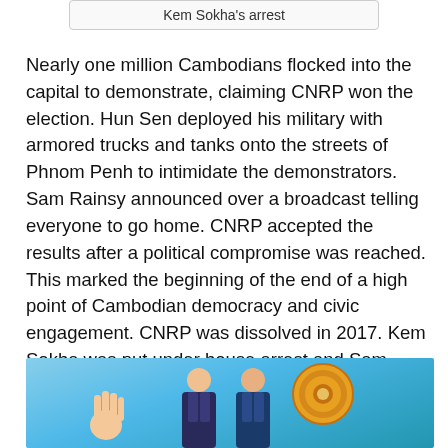Kem Sokha's arrest
Nearly one million Cambodians flocked into the capital to demonstrate, claiming CNRP won the election. Hun Sen deployed his military with armored trucks and tanks onto the streets of Phnom Penh to intimidate the demonstrators. Sam Rainsy announced over a broadcast telling everyone to go home. CNRP accepted the results after a political compromise was reached. This marked the beginning of the end of a high point of Cambodian democracy and civic engagement. CNRP was dissolved in 2017. Kem Sokha was put under house arrest and Sam Rainsy was forced to resign and went into exile. By the 2018 national election, it was a one party state. Hun Sen took all 125 seats. Prince Ranariddh was propped up as an opposition party to legitimize Hun Sen's election, but won no seat.
[Figure (photo): Photo showing two men in suits standing in front of a blue background with a circular emblem/seal visible, with a hand raised in a waving gesture on the left side.]